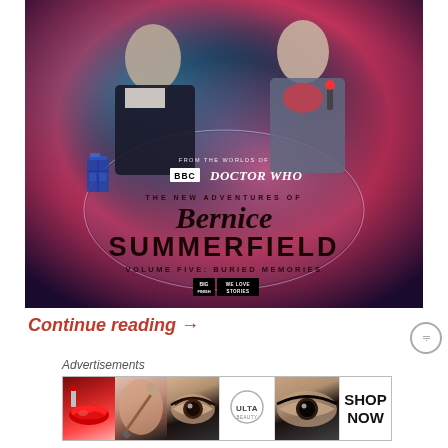[Figure (illustration): Promotional cover art for 'The New Adventures of Bernice Summerfield: Volume Five: Buried Memories' from BBC Doctor Who. Features two actors (older man in dark coat, woman in red top holding a sonic device) against a cosmic nebula background with the TARDIS. Includes BBC Doctor Who logo, script title 'Bernice Summerfield' and 'SUMMERFIELD' in bold caps, subtitle 'VOLUME FIVE: BURIED MEMORIES', and Big Finish 'We Love Stories' logo.]
Continue reading →
Advertisements
[Figure (photo): Advertisement banner strip showing makeup/beauty ads: lips with red lipstick and brush, eye with makeup, ULTA beauty logo, eye close-up, and 'SHOP NOW' text panel.]